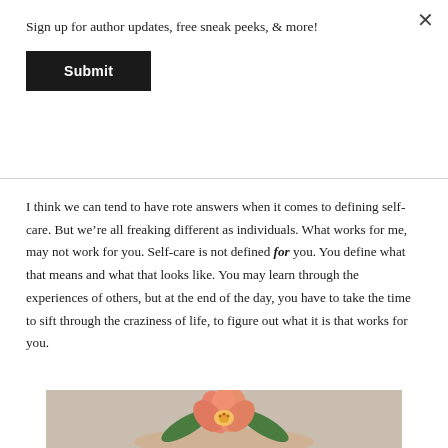×
Sign up for author updates, free sneak peeks, & more!
Submit
I think we can tend to have rote answers when it comes to defining self-care. But we're all freaking different as individuals. What works for me, may not work for you. Self-care is not defined for you. You define what that means and what that looks like. You may learn through the experiences of others, but at the end of the day, you have to take the time to sift through the craziness of life, to figure out what it is that works for you.
[Figure (photo): A pink/orange flower with green leaves held in a hand against a light background.]